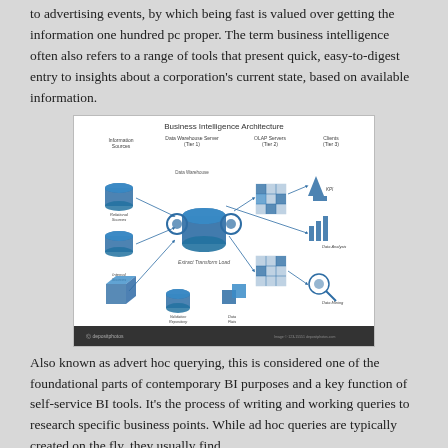to advertising events, by which being fast is valued over getting the information one hundred pc proper. The term business intelligence often also refers to a range of tools that present quick, easy-to-digest entry to insights about a corporation's current state, based on available information.
[Figure (infographic): Business Intelligence Architecture diagram showing three tiers: Information Sources (Tier 1) with database icons feeding into a Data Warehouse Server, OLAP Servers (Tier 2), and Clients (Tier 3) with KPI, Data Analysis, and Data Mining outputs. ETL (Extract Transform Load) process shown in center with gear icons.]
Also known as advert hoc querying, this is considered one of the foundational parts of contemporary BI purposes and a key function of self-service BI tools. It's the process of writing and working queries to research specific business points. While ad hoc queries are typically created on the fly, they usually find